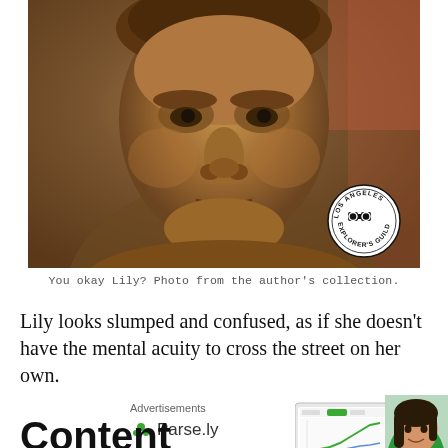[Figure (photo): Close-up photograph of a bronze statue of a woman (Lily), face slumped and downward-looking. A circular Los Angeles Explorer's Guild stamp/badge is visible in the lower right corner of the image.]
You okay Lily? Photo from the author's collection.
Lily looks slumped and confused, as if she doesn't have the mental acuity to cross the street on her own.
Advertisements
[Figure (logo): Parse.ly logo with green leaf icon and text 'Parse.ly']
[Figure (screenshot): Advertisement image showing a Parse.ly analytics dashboard screenshot with a green line chart, alongside a photo of a smiling woman in a green top.]
Content